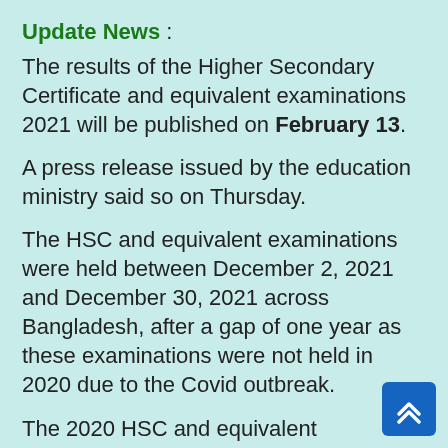Update News :
The results of the Higher Secondary Certificate and equivalent examinations 2021 will be published on February 13.
A press release issued by the education ministry said so on Thursday.
The HSC and equivalent examinations were held between December 2, 2021 and December 30, 2021 across Bangladesh, after a gap of one year as these examinations were not held in 2020 due to the Covid outbreak.
The 2020 HSC and equivalent examinees were given grade point average using the subject mapping method based on their